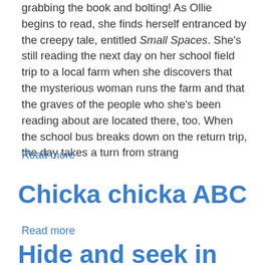grabbing the book and bolting!  As Ollie begins to read, she finds herself entranced by the creepy tale, entitled Small Spaces.  She's still reading the next day on her school field trip to a local farm when she discovers that the mysterious woman runs the farm and that the graves of the people who she's been reading about are located there, too.  When the school bus breaks down on the return trip, the day takes a turn from strang
Read more
Chicka chicka ABC
Read more
Hide and seek in the jungle